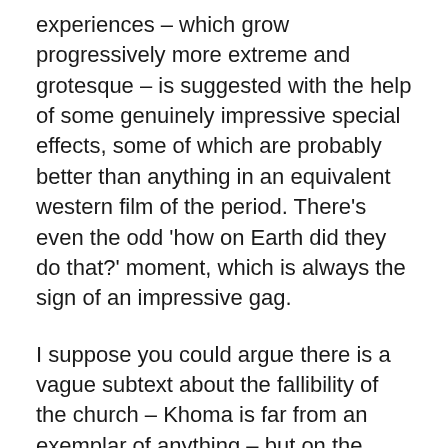experiences – which grow progressively more extreme and grotesque – is suggested with the help of some genuinely impressive special effects, some of which are probably better than anything in an equivalent western film of the period. There's even the odd 'how on Earth did they do that?' moment, which is always the sign of an impressive gag.
I suppose you could argue there is a vague subtext about the fallibility of the church – Khoma is far from an exemplar of anything – but on the whole this does seem to have been a faithful attempt at bringing a story from th pre-Soviet period to the screen. It's no more genuinely scary than most 60s horror films of this type, but it does have that pervasive atmosphere of rising strangeness and the climax is honestly worth the wait. As noted, you wouldn't expect what was effectively the state studio of the